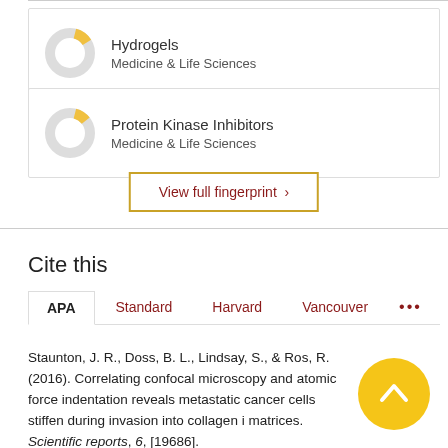[Figure (donut-chart): Small donut chart with yellow segment, next to 'Hydrogels' label]
Hydrogels
Medicine & Life Sciences
[Figure (donut-chart): Small donut chart with yellow segment, next to 'Protein Kinase Inhibitors' label]
Protein Kinase Inhibitors
Medicine & Life Sciences
View full fingerprint ›
Cite this
APA   Standard   Harvard   Vancouver   •••
Staunton, J. R., Doss, B. L., Lindsay, S., & Ros, R. (2016). Correlating confocal microscopy and atomic force indentation reveals metastatic cancer cells stiffen during invasion into collagen i matrices. Scientific reports, 6, [19686].
https://doi.org/10.1038/srep19686